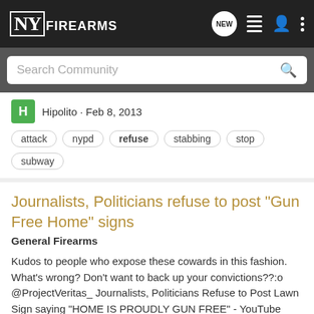NY FIREARMS
Search Community
Hipolito · Feb 8, 2013
attack   nypd   refuse   stabbing   stop   subway
Journalists, Politicians refuse to post "Gun Free Home" signs
General Firearms
Kudos to people who expose these cowards in this fashion. What's wrong? Don't want to back up your convictions??:o @ProjectVeritas_ Journalists, Politicians Refuse to Post Lawn Sign saying "HOME IS PROUDLY GUN FREE" - YouTube
5   879
defilade · Jan 30, 2013